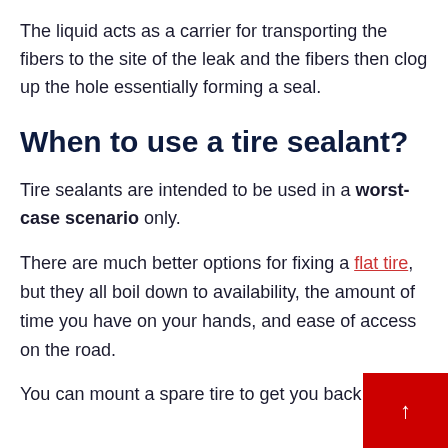The liquid acts as a carrier for transporting the fibers to the site of the leak and the fibers then clog up the hole essentially forming a seal.
When to use a tire sealant?
Tire sealants are intended to be used in a worst-case scenario only.
There are much better options for fixing a flat tire, but they all boil down to availability, the amount of time you have on your hands, and ease of access on the road.
You can mount a spare tire to get you back